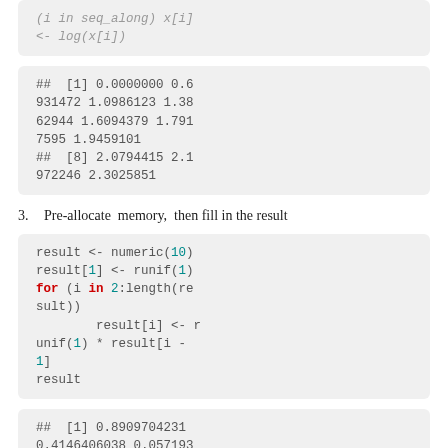(i in seq_along) x[i] <- log(x[i])
## [1] 0.0000000 0.6931472 1.0986123 1.3862944 1.6094379 1.7917595 1.9459101
## [8] 2.0794415 2.1972246 2.3025851
Pre-allocate memory, then fill in the result
result <- numeric(10)
result[1] <- runif(1)
for (i in 2:length(result))
        result[i] <- runif(1) * result[i - 1]
result
## [1] 0.8909704231 0.4146406038 0.0571932085 0.0284667752 0.0...